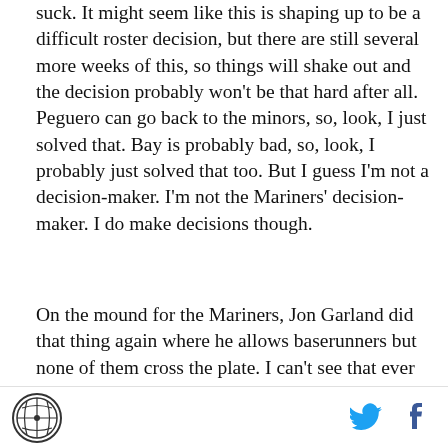suck. It might seem like this is shaping up to be a difficult roster decision, but there are still several more weeks of this, so things will shake out and the decision probably won't be that hard after all. Peguero can go back to the minors, so, look, I just solved that. Bay is probably bad, so, look, I probably just solved that too. But I guess I'm not a decision-maker. I'm not the Mariners' decision-maker. I do make decisions though.
On the mound for the Mariners, Jon Garland did that thing again where he allows baserunners but none of them cross the plate. I can't see that ever breaking in the other direction. After Garland was Taijuan Walker, and Walker didn't have a great outing, putting several guys on base in two innings. Walker generated just
SBNation logo | Twitter icon | Facebook icon